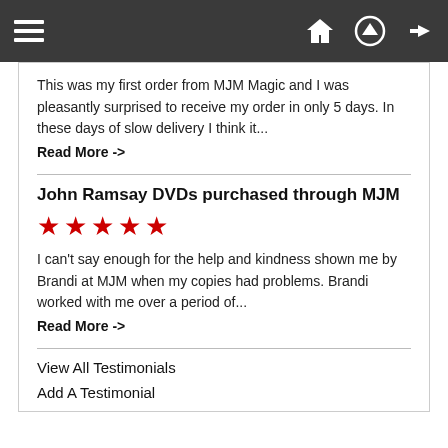[Navigation bar with hamburger menu, home, upload, and login icons]
This was my first order from MJM Magic and I was pleasantly surprised to receive my order in only 5 days. In these days of slow delivery I think it...
Read More ->
John Ramsay DVDs purchased through MJM
[Figure (other): 5 red star rating]
I can't say enough for the help and kindness shown me by Brandi at MJM when my copies had problems. Brandi worked with me over a period of...
Read More ->
View All Testimonials
Add A Testimonial